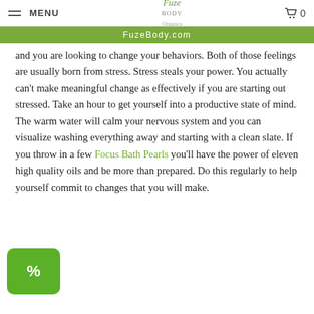MENU  FuzeBody  0
FuzeBody.com
and you are looking to change your behaviors. Both of those feelings are usually born from stress. Stress steals your power. You actually can't make meaningful change as effectively if you are starting out stressed. Take an hour to get yourself into a productive state of mind. The warm water will calm your nervous system and you can visualize washing everything away and starting with a clean slate. If you throw in a few Focus Bath Pearls you'll have the power of eleven high quality oils and be more than prepared. Do this regularly to help yourself commit to changes that you will make.